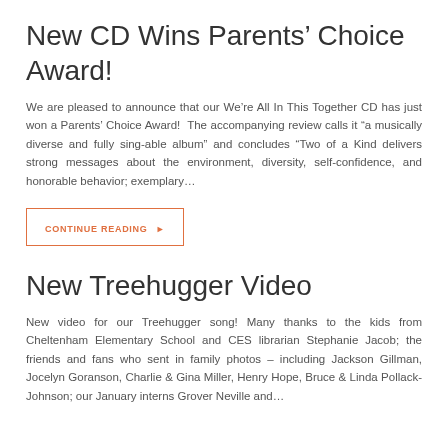New CD Wins Parents’ Choice Award!
We are pleased to announce that our We’re All In This Together CD has just won a Parents’ Choice Award!  The accompanying review calls it “a musically diverse and fully sing-able album” and concludes “Two of a Kind delivers strong messages about the environment, diversity, self-confidence, and honorable behavior; exemplary…
CONTINUE READING ►
New Treehugger Video
New video for our Treehugger song! Many thanks to the kids from Cheltenham Elementary School and CES librarian Stephanie Jacob; the friends and fans who sent in family photos – including Jackson Gillman, Jocelyn Goranson, Charlie & Gina Miller, Henry Hope, Bruce & Linda Pollack-Johnson; our January interns Grover Neville and…